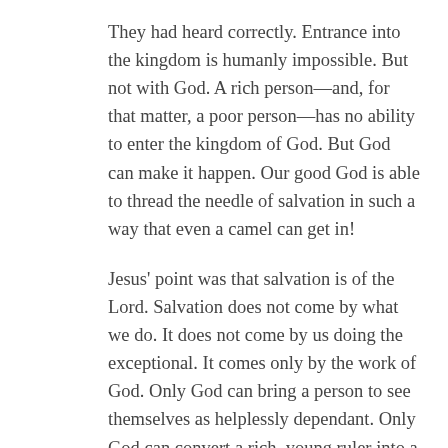They had heard correctly. Entrance into the kingdom is humanly impossible. But not with God. A rich person—and, for that matter, a poor person—has no ability to enter the kingdom of God. But God can make it happen. Our good God is able to thread the needle of salvation in such a way that even a camel can get in!
Jesus' point was that salvation is of the Lord. Salvation does not come by what we do. It does not come by us doing the exceptional. It comes only by the work of God. Only God can bring a person to see themselves as helplessly dependant. Only God can convert a rich, young ruler into a humble, helpless, and trusting child. Thank God that he can. Thank God that he does.
Let me summarise: Jesus points us to God. He points us to ourselves. He points us to our need. And he points us to the problem. God alone can meet the...